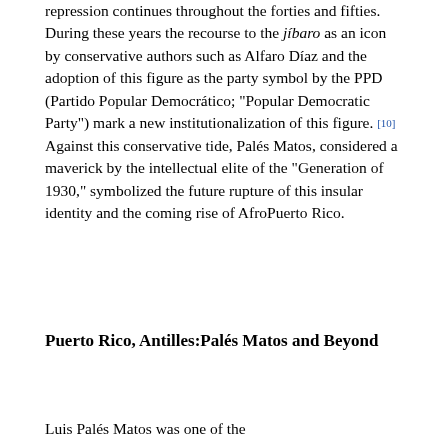repression continues throughout the forties and fifties. During these years the recourse to the jíbaro as an icon by conservative authors such as Alfaro Díaz and the adoption of this figure as the party symbol by the PPD (Partido Popular Democrático; "Popular Democratic Party") mark a new institutionalization of this figure. [10] Against this conservative tide, Palés Matos, considered a maverick by the intellectual elite of the "Generation of 1930," symbolized the future rupture of this insular identity and the coming rise of AfroPuerto Rico.
Puerto Rico, Antilles:Palés Matos and Beyond
Luis Palés Matos was one of the